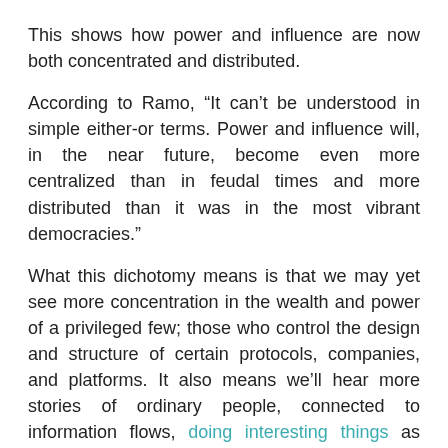This shows how power and influence are now both concentrated and distributed.
According to Ramo, “It can’t be understood in simple either-or terms. Power and influence will, in the near future, become even more centralized than in feudal times and more distributed than it was in the most vibrant democracies.”
What this dichotomy means is that we may yet see more concentration in the wealth and power of a privileged few; those who control the design and structure of certain protocols, companies, and platforms. It also means we’ll hear more stories of ordinary people, connected to information flows, doing interesting things as well.
The World Is Complex, Not Complicated
It’s an important distinction and one that Ramo goes to great lengths to define:
“Something something something something something something something